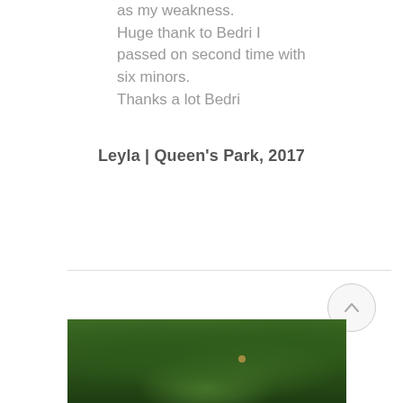as my weakness. Huge thank to Bedri I passed on second time with six minors. Thanks a lot Bedri
Leyla | Queen's Park, 2017
[Figure (photo): Photograph of dense green treetops/forest canopy viewed from below or at eye level]